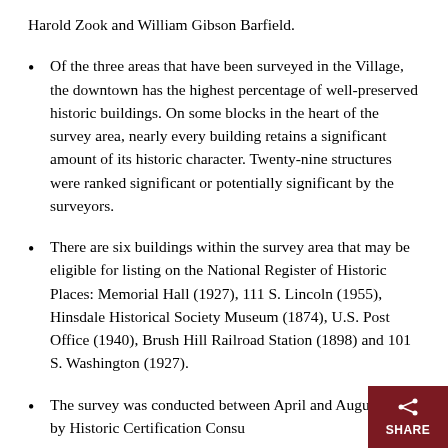Harold Zook and William Gibson Barfield.
Of the three areas that have been surveyed in the Village, the downtown has the highest percentage of well-preserved historic buildings. On some blocks in the heart of the survey area, nearly every building retains a significant amount of its historic character. Twenty-nine structures were ranked significant or potentially significant by the surveyors.
There are six buildings within the survey area that may be eligible for listing on the National Register of Historic Places: Memorial Hall (1927), 111 S. Lincoln (1955), Hinsdale Historical Society Museum (1874), U.S. Post Office (1940), Brush Hill Railroad Station (1898) and 101 S. Washington (1927).
The survey was conducted between April and August 2003 by Historic Certification Consu...